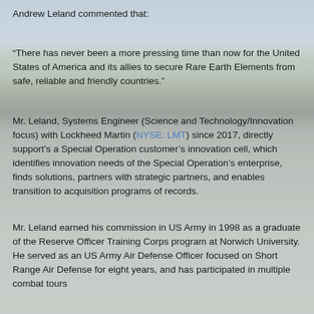Andrew Leland commented that:
“There has never been a more pressing time than now for the United States of America and its allies to secure Rare Earth Elements from safe, reliable and friendly countries.”
Mr. Leland, Systems Engineer (Science and Technology/Innovation focus) with Lockheed Martin (NYSE: LMT) since 2017, directly support’s a Special Operation customer’s innovation cell, which identifies innovation needs of the Special Operation’s enterprise, finds solutions, partners with strategic partners, and enables transition to acquisition programs of records.
Mr. Leland earned his commission in US Army in 1998 as a graduate of the Reserve Officer Training Corps program at Norwich University. He served as an US Army Air Defense Officer focused on Short Range Air Defense for eight years, and has participated in multiple combat tours